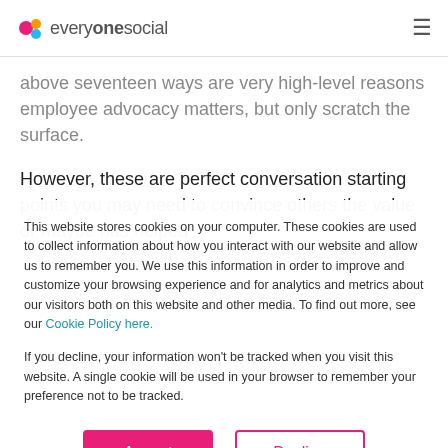everyonesocial
above seventeen ways are very high-level reasons employee advocacy matters, but only scratch the surface.
However, these are perfect conversation starting points you may need to convince others the value or maybe has helped
This website stores cookies on your computer. These cookies are used to collect information about how you interact with our website and allow us to remember you. We use this information in order to improve and customize your browsing experience and for analytics and metrics about our visitors both on this website and other media. To find out more, see our Cookie Policy here.
If you decline, your information won't be tracked when you visit this website. A single cookie will be used in your browser to remember your preference not to be tracked.
Accept
Decline